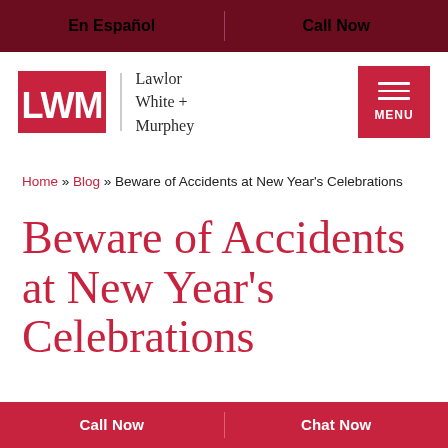En Español | Call Now
[Figure (logo): LWM logo (red letters) with Lawlor White + Murphey firm name and red hamburger menu button]
Home » Blog » Beware of Accidents at New Year's Celebrations
Beware of Accidents at New Year's Celebrations
Call Now | Chat Now